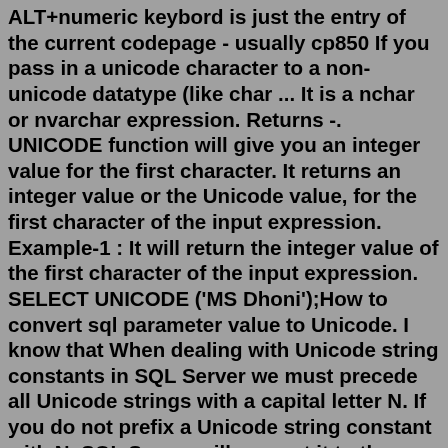ALT+numeric keybord is just the entry of the current codepage - usually cp850 If you pass in a unicode character to a non-unicode datatype (like char ... It is a nchar or nvarchar expression. Returns -. UNICODE function will give you an integer value for the first character. It returns an integer value or the Unicode value, for the first character of the input expression. Example-1 : It will return the integer value of the first character of the input expression. SELECT UNICODE ('MS Dhoni');How to convert sql parameter value to Unicode. I know that When dealing with Unicode string constants in SQL Server we must precede all Unicode strings with a capital letter N. If you do not prefix a Unicode string constant with N, SQL Server will convert it to the non-Unicode code page of the current database before it uses the string. Unicode data in SQL Server or flat file source if ported to SQL server table in a VARCHAR column, using SSIS, BCP or any other mean will show similar behavior. Problem Description MS SQL Server by default supports Code Page 1252